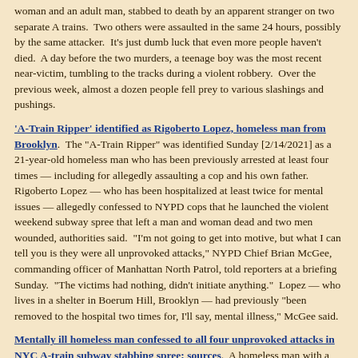woman and an adult man, stabbed to death by an apparent stranger on two separate A trains. Two others were assaulted in the same 24 hours, possibly by the same attacker. It's just dumb luck that even more people haven't died. A day before the two murders, a teenage boy was the most recent near-victim, tumbling to the tracks during a violent robbery. Over the previous week, almost a dozen people fell prey to various slashings and pushings.
'A-Train Ripper' identified as Rigoberto Lopez, homeless man from Brooklyn. The "A-Train Ripper" was identified Sunday [2/14/2021] as a 21-year-old homeless man who has been previously arrested at least four times — including for allegedly assaulting a cop and his own father. Rigoberto Lopez — who has been hospitalized at least twice for mental issues — allegedly confessed to NYPD cops that he launched the violent weekend subway spree that left a man and woman dead and two men wounded, authorities said. "I'm not going to get into motive, but what I can tell you is they were all unprovoked attacks," NYPD Chief Brian McGee, commanding officer of Manhattan North Patrol, told reporters at a briefing Sunday. "The victims had nothing, didn't initiate anything." Lopez — who lives in a shelter in Boerum Hill, Brooklyn — had previously "been removed to the hospital two times for, I'll say, mental illness," McGee said.
Mentally ill homeless man confessed to all four unprovoked attacks in NYC A-train subway stabbing spree: sources. A homeless man with a history of mental illness was charged Sunday with a grisly stabbing spree on the A train line that left two people dead and two others wounded — and the city gripped with fear. Rigoberto Astwood Lopez, 21, was nabbed around 6:15 p.m. Saturday at W. 186th St. and Audubon Ave. in Washington Heights after hundreds of cops were deployed to keep the public safe from the mystery killer.